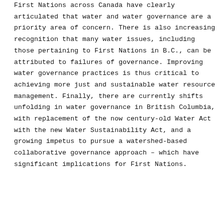First Nations across Canada have clearly articulated that water and water governance are a priority area of concern. There is also increasing recognition that many water issues, including those pertaining to First Nations in B.C., can be attributed to failures of governance. Improving water governance practices is thus critical to achieving more just and sustainable water resource management. Finally, there are currently shifts unfolding in water governance in British Columbia, with replacement of the now century-old Water Act with the new Water Sustainability Act, and a growing impetus to pursue a watershed-based collaborative governance approach – which have significant implications for First Nations.